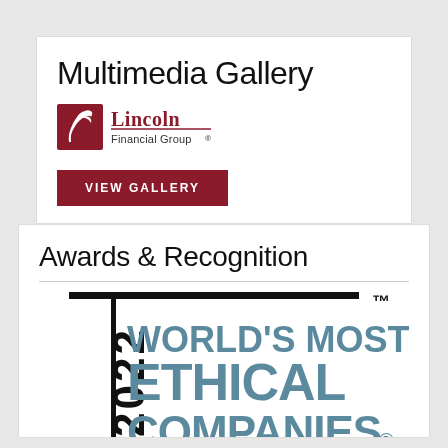Multimedia Gallery
[Figure (logo): Lincoln Financial Group logo — dark red square with white silhouette profile of Lincoln, beside text 'Lincoln' in serif dark red with underline, and 'Financial Group®' below]
VIEW GALLERY
Awards & Recognition
[Figure (logo): 2022 World's Most Ethical Companies™ badge — year '2022' rotated vertically on left in black, large bold teal text 'WORLD'S MOST ETHICAL COMPANIES®' with TM mark at top right, black horizontal bar at top]